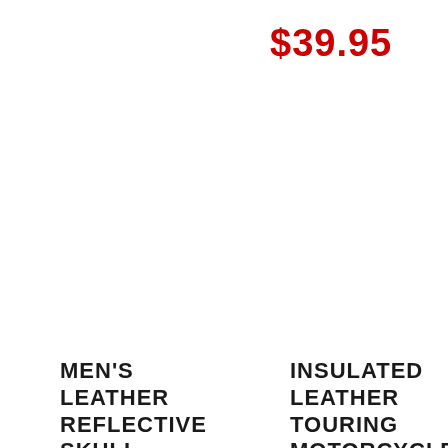$39.95
MEN'S LEATHER REFLECTIVE SKULL MOTORCYCLE
INSULATED LEATHER TOURING MOTORCYCLE GLOVES